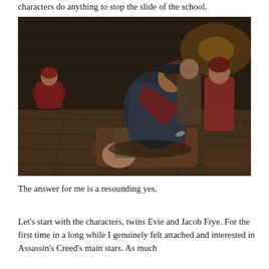characters do anything to stop the slide of the school.
[Figure (screenshot): A video game screenshot from Assassin's Creed Syndicate showing a female assassin character pinning down a bald enemy on a wooden floor, with other characters fighting in the background in a dimly lit interior setting.]
The answer for me is a resounding yes.
Let's start with the characters, twins Evie and Jacob Frye. For the first time in a long while I genuinely felt attached and interested in Assassin's Creed's main stars. As much